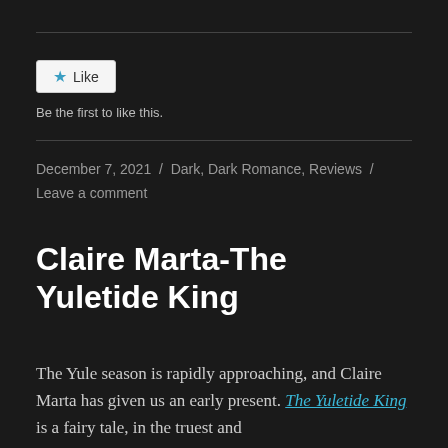[Figure (other): Like button widget with star icon and text 'Like']
Be the first to like this.
December 7, 2021 / Dark, Dark Romance, Reviews / Leave a comment
Claire Marta-The Yuletide King
The Yule season is rapidly approaching, and Claire Marta has given us an early present. The Yuletide King is a fairy tale, in the truest and